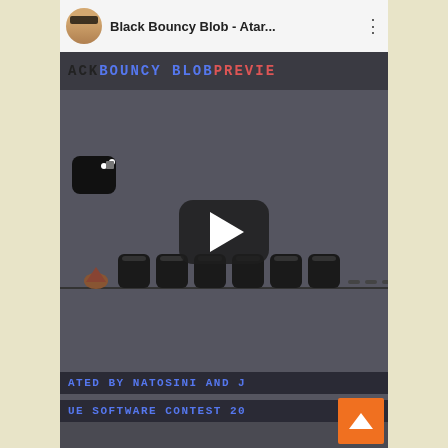[Figure (screenshot): Screenshot of a YouTube/video player showing a video titled 'Black Bouncy Blob - Atar...' with a profile avatar, menu dots, and a retro game screen. The game screen shows 'BLACK BOUNCY BLOB PREVIEW' text, a black blob character, platform blocks, a play button overlay, score text, and credits lines reading 'CREATED BY NATOSINI AND J...' and '...UE SOFTWARE CONTEST 20...' with an orange scroll-to-top button.]